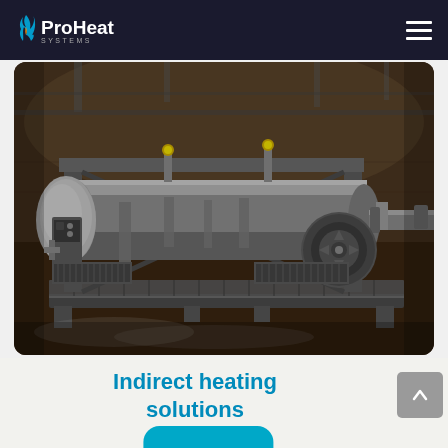ProHeat SYSTEMS
[Figure (photo): Industrial indirect heating unit / fire-tube bath heater mounted on a skid frame, photographed in a warehouse/industrial building. The unit shows a large horizontal cylindrical vessel with insulation on the left end, supported by a steel frame with a fan/blower visible at the right side. Various piping, valves, and a control panel are visible. The machine sits on a steel skid base.]
Indirect heating solutions